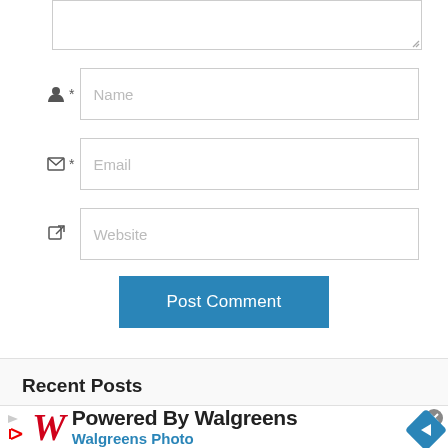[Figure (screenshot): Partial bottom of a comment text area input box with resize handle]
Name (placeholder)
Email (placeholder)
Website (placeholder)
Post Comment (button)
Recent Posts
[Figure (infographic): Walgreens advertisement banner: Powered By Walgreens / Walgreens Photo with Walgreens W logo and blue diamond arrow icon, close button top right]